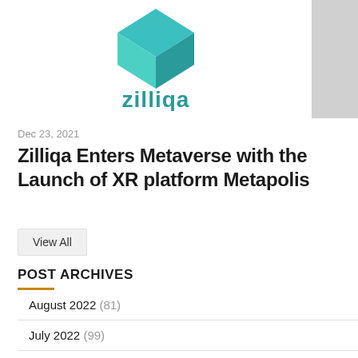[Figure (logo): Zilliqa logo — teal geometric diamond shape above teal lowercase text 'zilliqa']
Dec 23, 2021
Zilliqa Enters Metaverse with the Launch of XR platform Metapolis
View All
POST ARCHIVES
August 2022 (81)
July 2022 (99)
June 2022 (97)